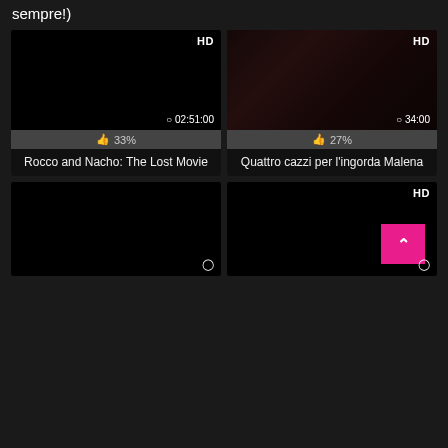sempre!)
[Figure (screenshot): Video thumbnail for Rocco and Nacho: The Lost Movie, black thumbnail, HD badge, duration 02:51:00, rating 33%]
Rocco and Nacho: The Lost Movie
[Figure (screenshot): Video thumbnail for Quattro cazzi per l'ingorda Malena, dark reddish thumbnail with figure, HD badge, duration 34:00, rating 27%]
Quattro cazzi per l'ingorda Malena
[Figure (screenshot): Video thumbnail, black, with clock icon, no HD badge, no rating shown]
[Figure (screenshot): Video thumbnail, black, HD badge, pink back-to-top button, clock icon]